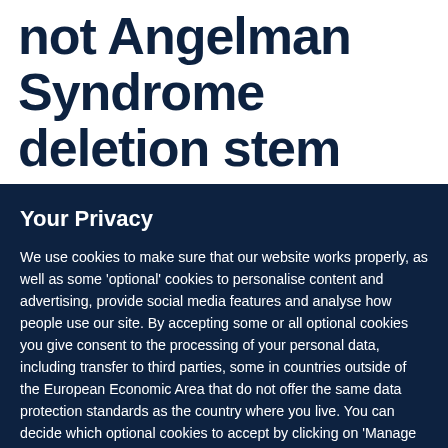not Angelman Syndrome deletion stem cell-
Your Privacy
We use cookies to make sure that our website works properly, as well as some ‘optional’ cookies to personalise content and advertising, provide social media features and analyse how people use our site. By accepting some or all optional cookies you give consent to the processing of your personal data, including transfer to third parties, some in countries outside of the European Economic Area that do not offer the same data protection standards as the country where you live. You can decide which optional cookies to accept by clicking on ‘Manage Settings’, where you can also find more information about how your personal data is processed. Further information can be found in our privacy policy.
Accept all cookies
Manage preferences